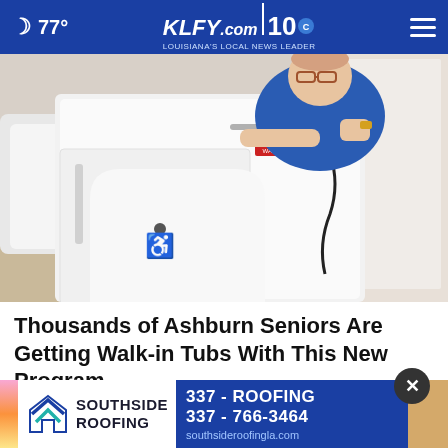77° | KLFY.com | 10
[Figure (photo): A man sitting inside a white walk-in tub with accessibility door panel (wheelchair symbol visible) in a bathroom showroom setting]
Thousands of Ashburn Seniors Are Getting Walk-in Tubs With This New Program
Smart Consumer Update
[Figure (logo): Southside Roofing advertisement banner with teal chevron logo, phone number 337-766-3464 and website southsideroofingla.com]